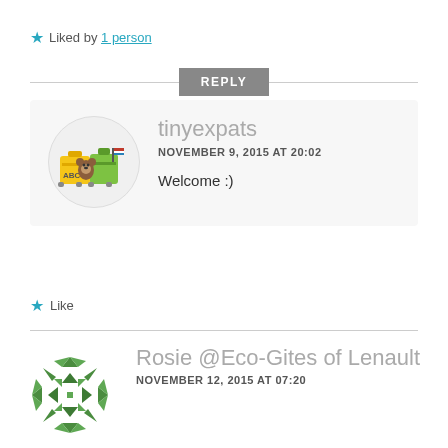★ Liked by 1 person
REPLY
[Figure (illustration): Circular avatar with cartoon luggage: yellow suitcase with ABC label, green suitcase, and a small bear with a flag]
tinyexpats
NOVEMBER 9, 2015 AT 20:02
Welcome :)
★ Like
[Figure (logo): Circular green geometric/quilt pattern logo for Rosie @Eco-Gites of Lenault]
Rosie @Eco-Gites of Lenault
NOVEMBER 12, 2015 AT 07:20